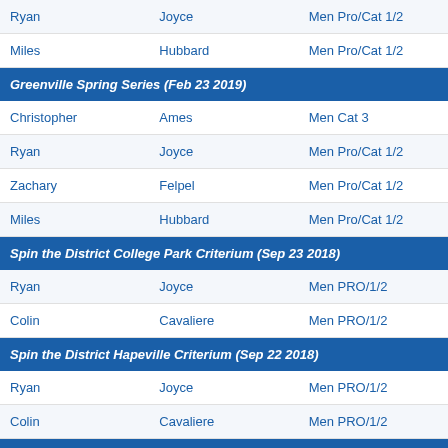| First | Last | Category |
| --- | --- | --- |
| Ryan | Joyce | Men Pro/Cat 1/2 |
| Miles | Hubbard | Men Pro/Cat 1/2 |
| [section] Greenville Spring Series (Feb 23 2019) |  |  |
| Christopher | Ames | Men Cat 3 |
| Ryan | Joyce | Men Pro/Cat 1/2 |
| Zachary | Felpel | Men Pro/Cat 1/2 |
| Miles | Hubbard | Men Pro/Cat 1/2 |
| [section] Spin the District College Park Criterium (Sep 23 2018) |  |  |
| Ryan | Joyce | Men PRO/1/2 |
| Colin | Cavaliere | Men PRO/1/2 |
| [section] Spin the District Hapeville Criterium (Sep 22 2018) |  |  |
| Ryan | Joyce | Men PRO/1/2 |
| Colin | Cavaliere | Men PRO/1/2 |
| [section] Village VW River Gorge Omnium - RR (Aug 26 2018) |  |  |
| Paul | Gregory | Men Pro/Cat 1/2 |
| Eric | Serantoni | Men Pro/Cat 1/2 |